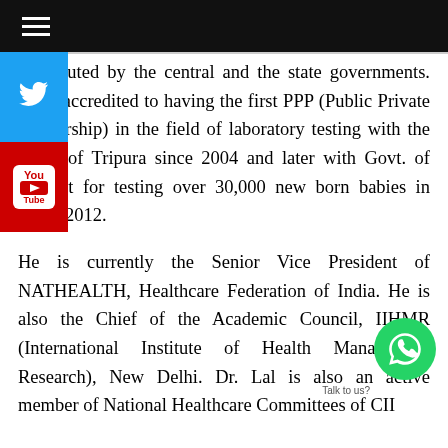≡
constituted by the central and the state governments. He is accredited to having the first PPP (Public Private Partnership) in the field of laboratory testing with the Govt. of Tripura since 2004 and later with Govt. of Gujarat for testing over 30,000 new born babies in 2011- 2012.
He is currently the Senior Vice President of NATHEALTH, Healthcare Federation of India. He is also the Chief of the Academic Council, IIHMR (International Institute of Health Management Research), New Delhi. Dr. Lal is also an active member of National Healthcare Committees of CII